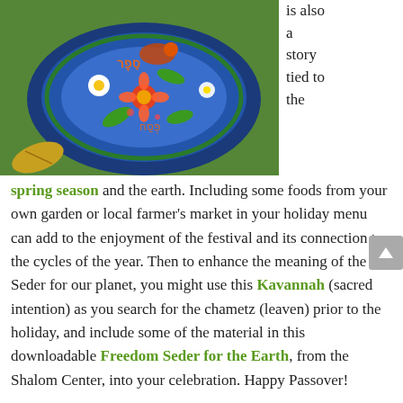[Figure (photo): Colorful decorative ceramic plate with floral and bird motifs lying on grass, with a fallen leaf nearby.]
is also a story tied to the
spring season and the earth. Including some foods from your own garden or local farmer's market in your holiday menu can add to the enjoyment of the festival and its connection to the cycles of the year. Then to enhance the meaning of the Seder for our planet, you might use this Kavannah (sacred intention) as you search for the chametz (leaven) prior to the holiday, and include some of the material in this downloadable Freedom Seder for the Earth, from the Shalom Center, into your celebration. Happy Passover!